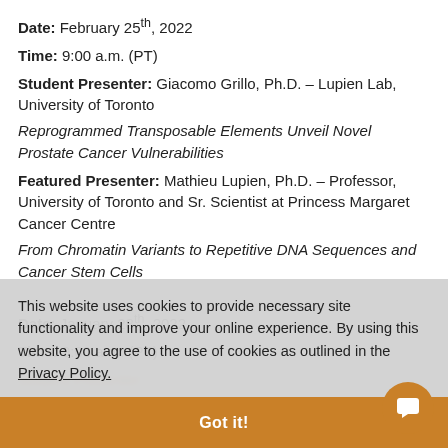Date: February 25th, 2022
Time: 9:00 a.m. (PT)
Student Presenter: Giacomo Grillo, Ph.D. – Lupien Lab, University of Toronto
Reprogrammed Transposable Elements Unveil Novel Prostate Cancer Vulnerabilities
Featured Presenter: Mathieu Lupien, Ph.D. – Professor, University of Toronto and Sr. Scientist at Princess Margaret Cancer Centre
From Chromatin Variants to Repetitive DNA Sequences and Cancer Stem Cells
Date: January 28th, 2022
Time: 9:00 a.m. (PT)
This website uses cookies to provide necessary site functionality and improve your online experience. By using this website, you agree to the use of cookies as outlined in the Privacy Policy.
Got it!